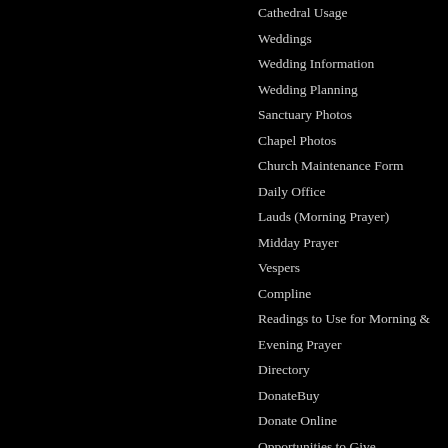Cathedral Usage
Weddings
Wedding Information
Wedding Planning
Sanctuary Photos
Chapel Photos
Church Maintenance Form
Daily Office
Lauds (Morning Prayer)
Midday Prayer
Vespers
Compline
Readings to Use for Morning &
Evening Prayer
Directory
DonateBuy
Donate Online
Opportunities to Give
Amazon.Com
Brown Bag
Cafe Press